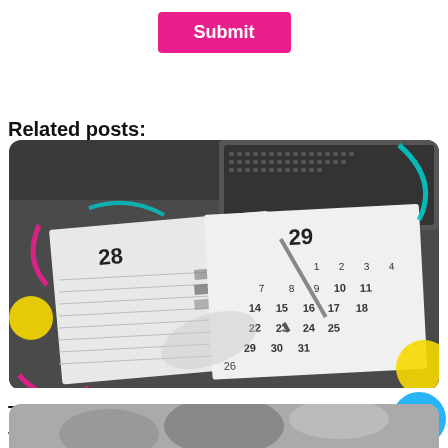[Figure (other): Pink/magenta Submit button centered at top of page]
Related posts:
[Figure (photo): Black and white photo of person writing in a calendar/planner on a desk with laptop, with colorful decorative shapes (yellow circle, cyan arc, magenta arc) overlaid]
The Must-Have Ecommerce Marketing Ca for 2022 | Fuel POD
[Figure (photo): Partial bottom image strip visible at bottom of page]